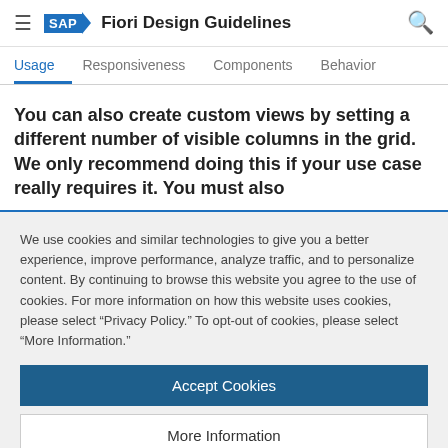SAP Fiori Design Guidelines
Usage | Responsiveness | Components | Behavior
You can also create custom views by setting a different number of visible columns in the grid. We only recommend doing this if your use case really requires it. You must also
We use cookies and similar technologies to give you a better experience, improve performance, analyze traffic, and to personalize content. By continuing to browse this website you agree to the use of cookies. For more information on how this website uses cookies, please select “Privacy Policy.” To opt-out of cookies, please select “More Information.”
Accept Cookies
More Information
Privacy Policy | Powered by: TrustArc